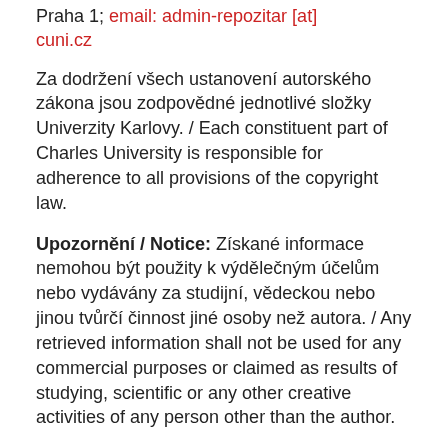Praha 1; email: admin-repozitar [at] cuni.cz
Za dodržení všech ustanovení autorského zákona jsou zodpovědné jednotlivé složky Univerzity Karlovy. / Each constituent part of Charles University is responsible for adherence to all provisions of the copyright law.
Upozornění / Notice: Získané informace nemohou být použity k výdělečným účelům nebo vydávány za studijní, vědeckou nebo jinou tvůrčí činnost jiné osoby než autora. / Any retrieved information shall not be used for any commercial purposes or claimed as results of studying, scientific or any other creative activities of any person other than the author.